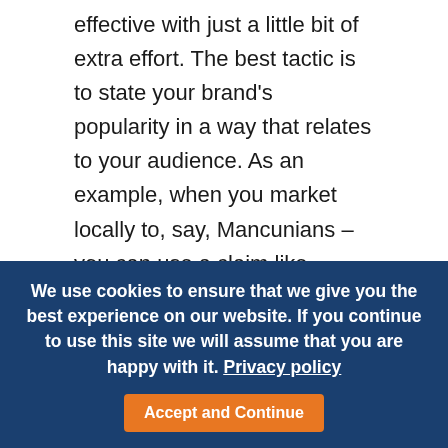effective with just a little bit of extra effort. The best tactic is to state your brand's popularity in a way that relates to your audience. As an example, when you market locally to, say, Mancunians – you can use a claim like 'Manchester's favourite'. And when you're considering different advertising mediums like magazines or an online platform, you can do the same thing. Tailor your popularity boasts to the audience you're reaching.
Don't assume your scale is known
We use cookies to ensure that we give you the best experience on our website. If you continue to use this site we will assume that you are happy with it. Privacy policy  Accept and Continue